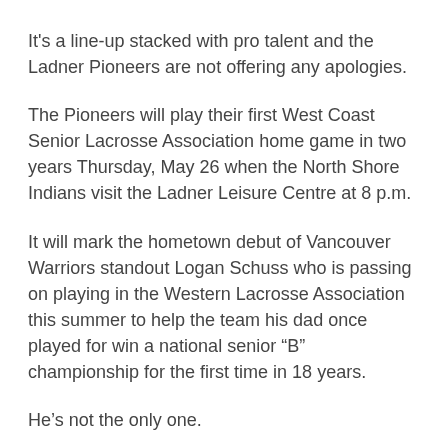It's a line-up stacked with pro talent and the Ladner Pioneers are not offering any apologies.
The Pioneers will play their first West Coast Senior Lacrosse Association home game in two years Thursday, May 26 when the North Shore Indians visit the Ladner Leisure Centre at 8 p.m.
It will mark the hometown debut of Vancouver Warriors standout Logan Schuss who is passing on playing in the Western Lacrosse Association this summer to help the team his dad once played for win a national senior “B” championship for the first time in 18 years.
He’s not the only one.